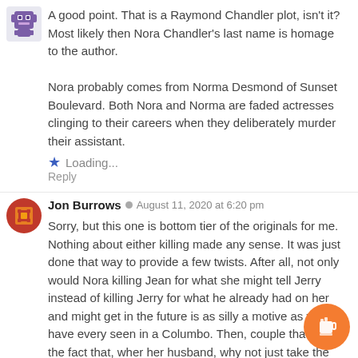[Figure (illustration): Purple pixel-art avatar icon]
A good point. That is a Raymond Chandler plot, isn't it? Most likely then Nora Chandler's last name is homage to the author.
Nora probably comes from Norma Desmond of Sunset Boulevard. Both Nora and Norma are faded actresses clinging to their careers when they deliberately murder their assistant.
★ Loading...
Reply
[Figure (illustration): Red and gold pixel-art avatar icon for Jon Burrows]
Jon Burrows · August 11, 2020 at 6:20 pm
Sorry, but this one is bottom tier of the originals for me. Nothing about either killing made any sense. It was just done that way to provide a few twists. After all, not only would Nora killing Jean for what she might tell Jerry instead of killing Jerry for what he already had on her and might get in the future is as silly a motive as we have every seen in a Columbo. Then, couple that with the fact that, wher her husband, why not just take the body aboard the bo dump it in the ocean if she already was going to take the boat